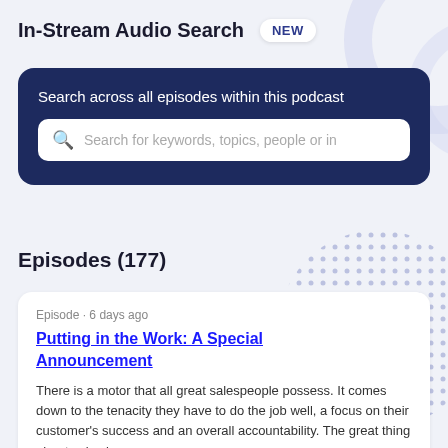In-Stream Audio Search NEW
[Figure (infographic): Dark navy search box UI with text 'Search across all episodes within this podcast' and a search input field with placeholder 'Search for keywords, topics, people or in']
Episodes (177)
Episode · 6 days ago
Putting in the Work: A Special Announcement
There is a motor that all great salespeople possess. It comes down to the tenacity they have to do the job well, a focus on their customer's success and an overall accountability. The great thing about sales is